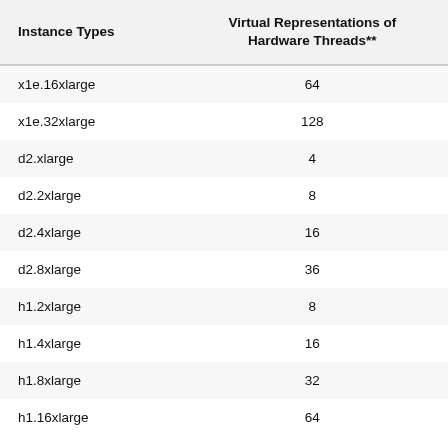| Instance Types | Virtual Representations of Hardware Threads** |
| --- | --- |
| x1e.16xlarge | 64 |
| x1e.32xlarge | 128 |
| d2.xlarge | 4 |
| d2.2xlarge | 8 |
| d2.4xlarge | 16 |
| d2.8xlarge | 36 |
| h1.2xlarge | 8 |
| h1.4xlarge | 16 |
| h1.8xlarge | 32 |
| h1.16xlarge | 64 |